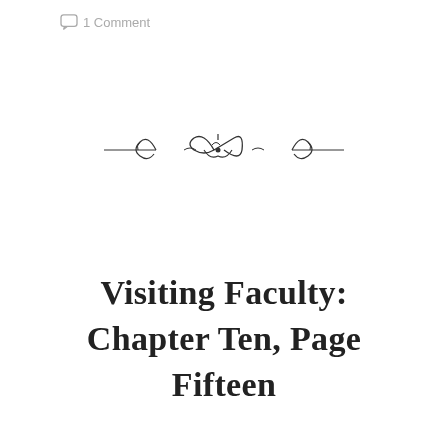1 Comment
[Figure (illustration): Decorative ornamental divider: a symmetrical flourish with curling scrollwork and a central bow/knot motif, flanked by thin horizontal lines on each side.]
Visiting Faculty: Chapter Ten, Page Fifteen